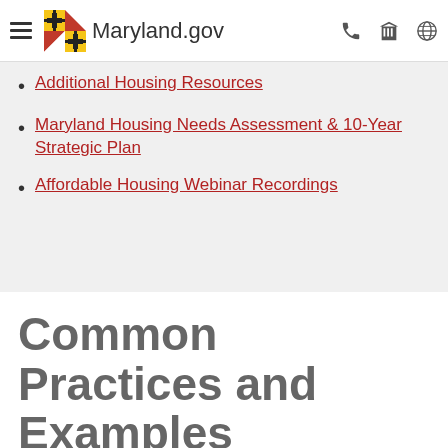Maryland.gov
Additional Housing Resources
Maryland Housing Needs Assessment & 10-Year Strategic Plan
Affordable Housing Webinar Recordings
Common Practices and Examples
As part of Planning's background research, we tabulated the most common affordable housing strategies included in the comprehensive plans of